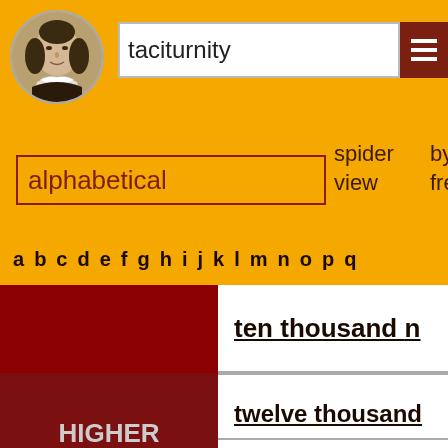[Figure (screenshot): Shakespeare portrait in circular frame]
taciturnity
alphabetical  spider view  by frequency  by
a b c d e f g h i j k l m n o p q
|  |  |
| --- | --- |
|  | ten thousand n |
| HIGHER OVER TEN | twelve thousand
fifteen thousand |